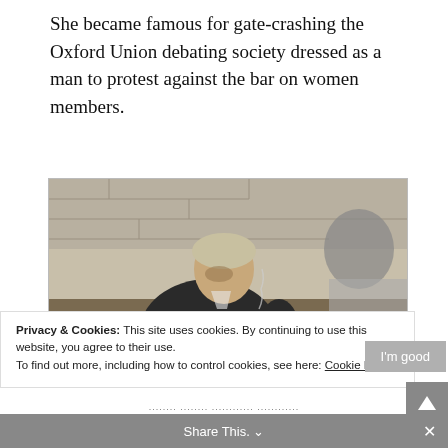She became famous for gate-crashing the Oxford Union debating society dressed as a man to protest against the bar on women members.
[Figure (photo): Black and white photograph of a person reading a book, seated, with a brick wall in the background. Another person is partially visible in the background.]
Privacy & Cookies: This site uses cookies. By continuing to use this website, you agree to their use.
To find out more, including how to control cookies, see here: Cookie Policy
I'm good
Share This.